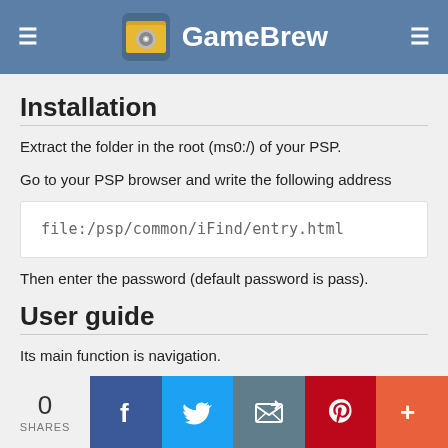GameBrew
Installation
Extract the folder in the root (ms0:/) of your PSP.
Go to your PSP browser and write the following address
file:/psp/common/iFind/entry.html
Then enter the password (default password is pass).
User guide
Its main function is navigation.
Apart from being a browser it also contains games like
0 SHARES | Facebook | Twitter | Mail | Pinterest | More